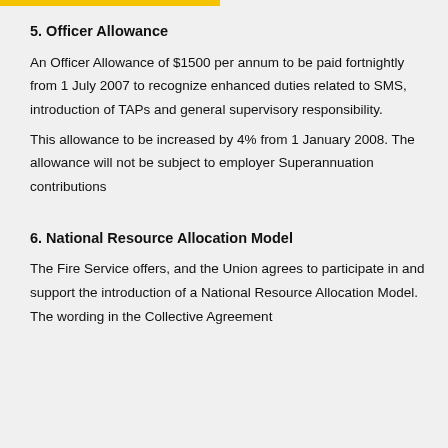5. Officer Allowance
An Officer Allowance of $1500 per annum to be paid fortnightly from 1 July 2007 to recognize enhanced duties related to SMS, introduction of TAPs and general supervisory responsibility.
This allowance to be increased by 4% from 1 January 2008. The allowance will not be subject to employer Superannuation contributions
6. National Resource Allocation Model
The Fire Service offers, and the Union agrees to participate in and support the introduction of a National Resource Allocation Model. The wording in the Collective Agreement